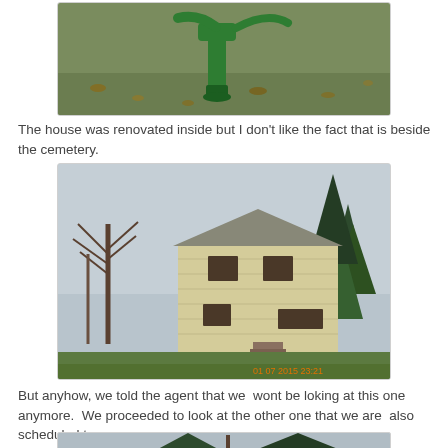[Figure (photo): Close-up photo of a green hand water pump on a grass lawn with fallen leaves]
The house was renovated inside but I don't like the fact that is beside the cemetery.
[Figure (photo): Photo of a two-story yellow/cream house with brown shutters, surrounded by bare trees and evergreens, with a grass lawn in front. Timestamp reads 01 07 2015 23:21]
But anyhow, we told the agent that we  wont be loking at this one anymore.  We proceeded to look at the other one that we are  also scheduled to see.
[Figure (photo): Partial photo of trees (bare deciduous and evergreen) against an overcast sky]